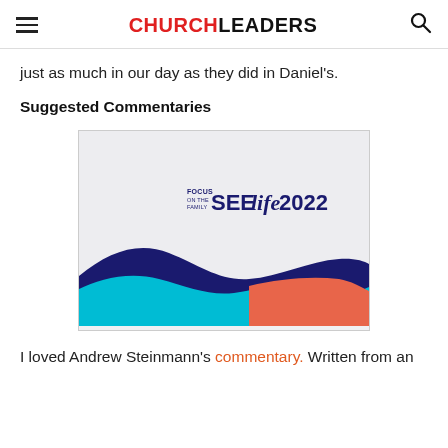CHURCHLEADERS
just as much in our day as they did in Daniel's.
Suggested Commentaries
[Figure (logo): Focus on the Family SEE Life 2022 logo on a light grey background with dark navy, cyan, and coral/red wave shapes at the bottom.]
I loved Andrew Steinmann's commentary. Written from an